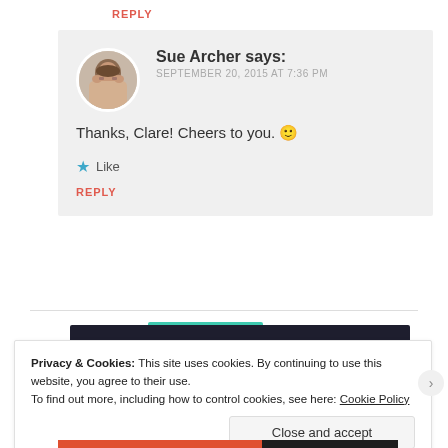REPLY
Sue Archer says:
SEPTEMBER 20, 2015 AT 7:36 PM
Thanks, Clare! Cheers to you. 🙂
★ Like
REPLY
[Figure (screenshot): Dark banner with teal accent at top, partially visible below comment section]
Privacy & Cookies: This site uses cookies. By continuing to use this website, you agree to their use.
To find out more, including how to control cookies, see here: Cookie Policy
Close and accept